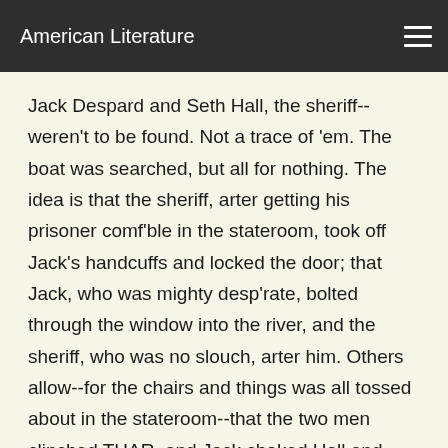American Literature
Jack Despard and Seth Hall, the sheriff--weren't to be found. Not a trace of 'em. The boat was searched, but all for nothing. The idea is that the sheriff, arter getting his prisoner comf'ble in the stateroom, took off Jack's handcuffs and locked the door; that Jack, who was mighty desp'rate, bolted through the window into the river, and the sheriff, who was no slouch, arter him. Others allow--for the chairs and things was all tossed about in the stateroom--that the two men clinched THAR, and Jack choked Hall and chucked him out, and then slipped cl'ar into the water himself, for the stateroom window was just ahead of the paddle box, and the